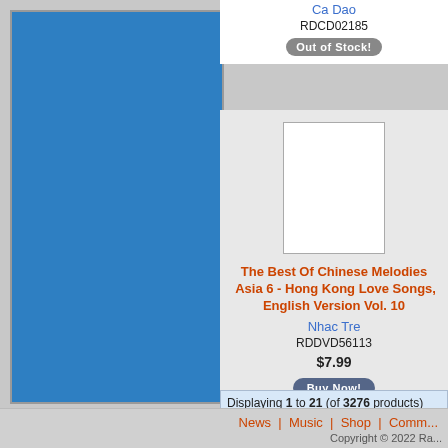Ca Dao
RDCD02185
Out of Stock!
[Figure (other): Album cover placeholder image (white rectangle with border)]
The Best Of Chinese Melodies  Asia 6 - Hong Kong Love Songs, English Version Vol. 10
Nhac Tre
RDDVD56113
$7.99
Buy Now!
Displaying 1 to 21 (of 3276 products)
News | Music | Shop | Comm... Copyright © 2022 Ra...